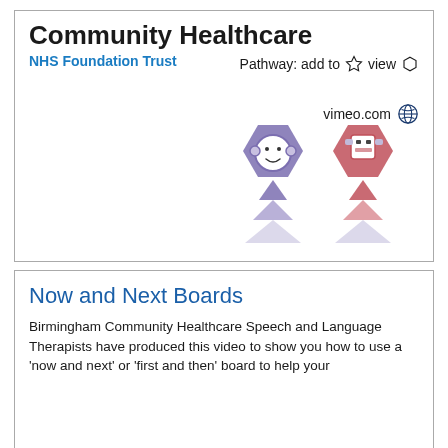Community Healthcare
NHS Foundation Trust
Pathway: add to ☆ view ⬡
vimeo.com 🌐
[Figure (illustration): Two cartoon robot/character figures on hexagonal backgrounds (purple and red) with triangular pyramid shapes below them in matching colors]
Now and Next Boards
Birmingham Community Healthcare Speech and Language Therapists have produced this video to show you how to use a 'now and next' or 'first and then' board to help your